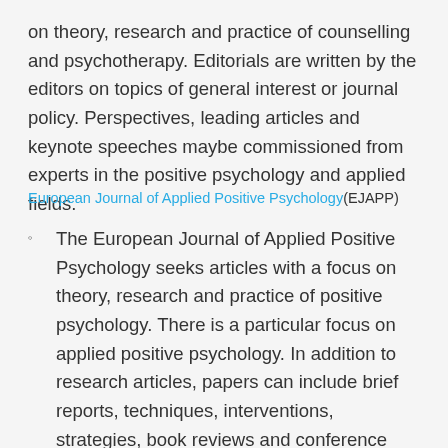on theory, research and practice of counselling and psychotherapy. Editorials are written by the editors on topics of general interest or journal policy. Perspectives, leading articles and keynote speeches maybe commissioned from experts in the positive psychology and applied fields.
European Journal of Applied Positive Psychology (EJAPP)
The European Journal of Applied Positive Psychology seeks articles with a focus on theory, research and practice of positive psychology. There is a particular focus on applied positive psychology. In addition to research articles, papers can include brief reports, techniques, interventions, strategies, book reviews and conference reports. Editorials are written by the editors on topics of general interest or journal policy. Perspectives, leading articles and key...